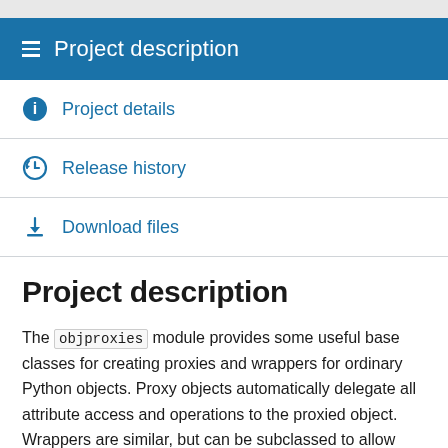Project description
Project details
Release history
Download files
Project description
The objproxies module provides some useful base classes for creating proxies and wrappers for ordinary Python objects. Proxy objects automatically delegate all attribute access and operations to the proxied object. Wrappers are similar, but can be subclassed to allow additional attributes and operations to be